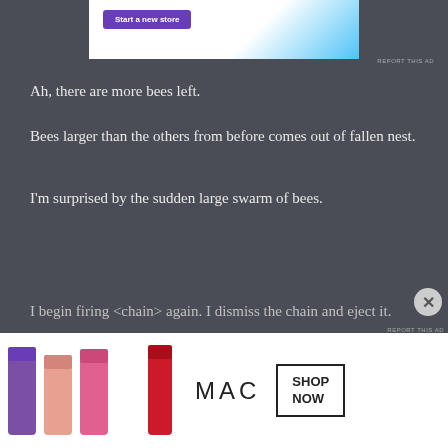[Figure (screenshot): Top advertisement banner showing a purple 'Start a new store' button on white/blue background]
REPORT THIS AD
Ah, there are more bees left.
Bees larger than the others from before comes out of fallen nest.
I'm surprised by the sudden large swarm of bees.
I begin firing <chain> again. I dismiss the chain and eject it.
[Figure (screenshot): Bottom MAC cosmetics advertisement showing lipsticks and 'SHOP NOW' text]